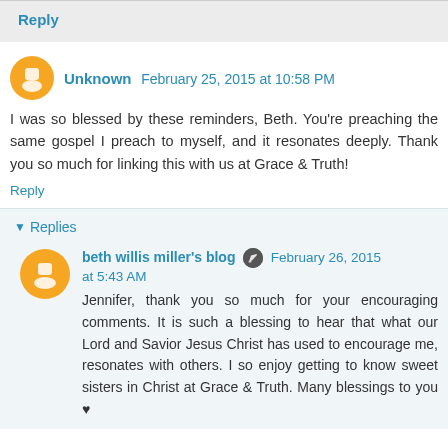Reply
Unknown  February 25, 2015 at 10:58 PM
I was so blessed by these reminders, Beth. You're preaching the same gospel I preach to myself, and it resonates deeply. Thank you so much for linking this with us at Grace & Truth!
Reply
Replies
beth willis miller's blog  February 26, 2015 at 5:43 AM
Jennifer, thank you so much for your encouraging comments. It is such a blessing to hear that what our Lord and Savior Jesus Christ has used to encourage me, resonates with others. I so enjoy getting to know sweet sisters in Christ at Grace & Truth. Many blessings to you ♥